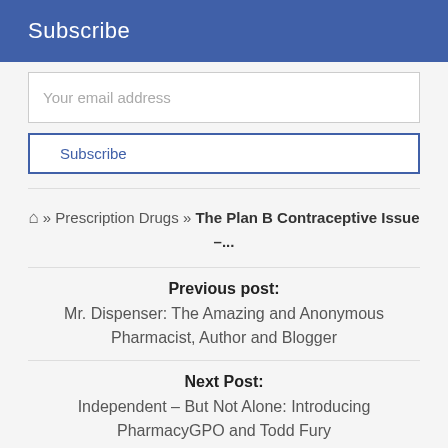Subscribe
Your email address
Subscribe
🏠 » Prescription Drugs » The Plan B Contraceptive Issue –...
Previous post:
Mr. Dispenser: The Amazing and Anonymous Pharmacist, Author and Blogger
Next Post:
Independent – But Not Alone: Introducing PharmacyGPO and Todd Fury